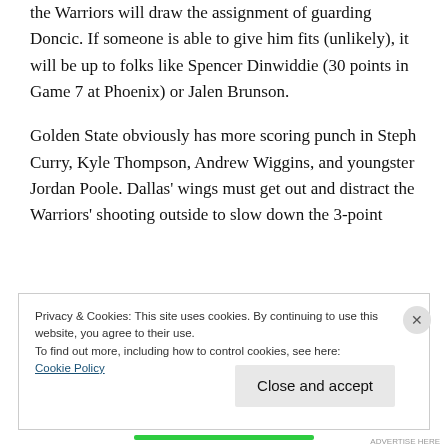the Warriors will draw the assignment of guarding Doncic. If someone is able to give him fits (unlikely), it will be up to folks like Spencer Dinwiddie (30 points in Game 7 at Phoenix) or Jalen Brunson.
Golden State obviously has more scoring punch in Steph Curry, Kyle Thompson, Andrew Wiggins, and youngster Jordan Poole. Dallas' wings must get out and distract the Warriors' shooting outside to slow down the 3-point
Privacy & Cookies: This site uses cookies. By continuing to use this website, you agree to their use.
To find out more, including how to control cookies, see here:
Cookie Policy